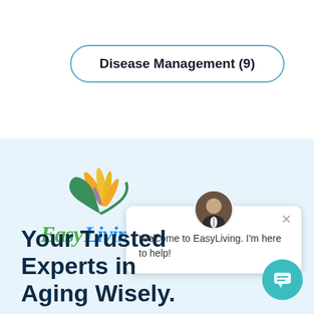Disease Management (9)
[Figure (logo): EasyLiving logo with bird of paradise flower in orange and yellow, green swirl, and 'EasyLiving' in green and blue cursive text]
[Figure (screenshot): Chat popup widget with avatar photo of a man in suit, close X button, and text: Welcome to EasyLiving. I'm here to help!]
Your Trusted Experts in Aging Wisely.